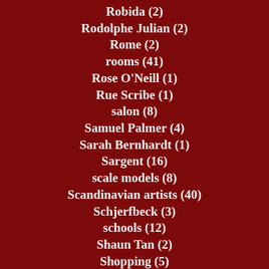Robida (2)
Rodolphe Julian (2)
Rome (2)
rooms (41)
Rose O'Neill (1)
Rue Scribe (1)
salon (8)
Samuel Palmer (4)
Sarah Bernhardt (1)
Sargent (16)
scale models (8)
Scandinavian artists (40)
Schjerfbeck (3)
schools (12)
Shaun Tan (2)
Shopping (5)
sketches (14)
Sloan (2)
social customs (8)